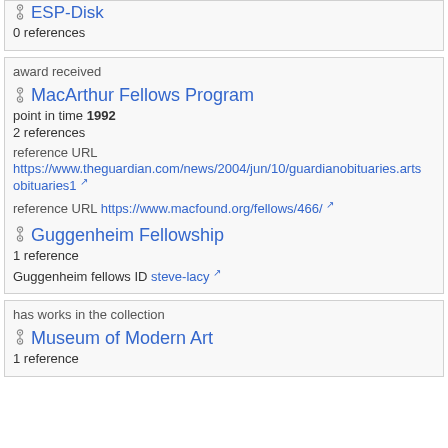ESP-Disk
0 references
award received
MacArthur Fellows Program
point in time 1992
2 references
reference URL https://www.theguardian.com/news/2004/jun/10/guardianobituaries.artsobituaries1
reference URL https://www.macfound.org/fellows/466/
Guggenheim Fellowship
1 reference
Guggenheim fellows ID steve-lacy
has works in the collection
Museum of Modern Art
1 reference